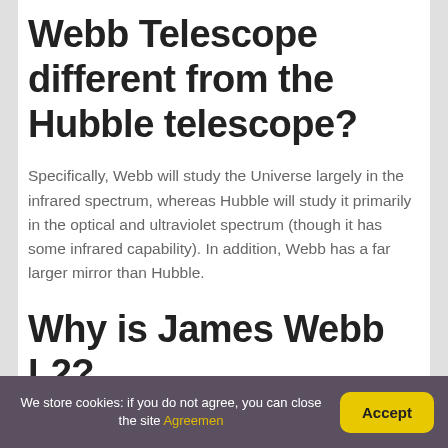Webb Telescope different from the Hubble telescope?
Specifically, Webb will study the Universe largely in the infrared spectrum, whereas Hubble will study it primarily in the optical and ultraviolet spectrum (though it has some infrared capability). In addition, Webb has a far larger mirror than Hubble.
Why is James Webb L2?
We store cookies: if you do not agree, you can close the site Agreement